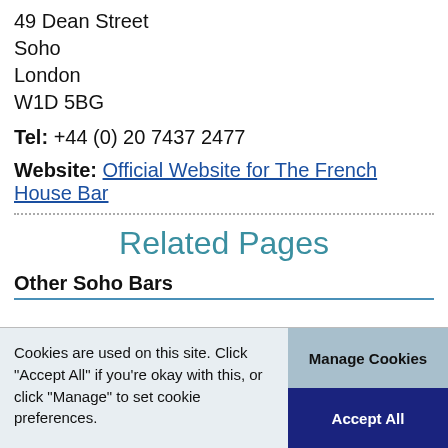49 Dean Street
Soho
London
W1D 5BG
Tel: +44 (0) 20 7437 2477
Website: Official Website for The French House Bar
Related Pages
Other Soho Bars
Cookies are used on this site. Click "Accept All" if you're okay with this, or click "Manage" to set cookie preferences.